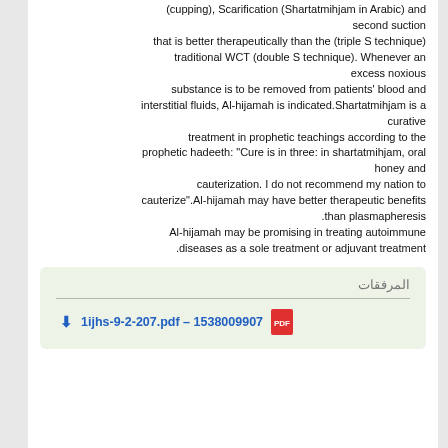(cupping), Scarification (Shartatmihjam in Arabic) and second suction that is better therapeutically than the (triple S technique) traditional WCT (double S technique). Whenever an excess noxious substance is to be removed from patients' blood and interstitial fluids, Al-hijamah is indicated.Shartatmihjam is a curative treatment in prophetic teachings according to the prophetic hadeeth: "Cure is in three: in shartatmihjam, oral honey and cauterization. I do not recommend my nation to cauterize".Al-hijamah may have better therapeutic benefits than plasmapheresis. Al-hijamah may be promising in treating autoimmune diseases as a sole treatment or adjuvant treatment.
المرفقات
1ijhs-9-2-207.pdf – 1538009907